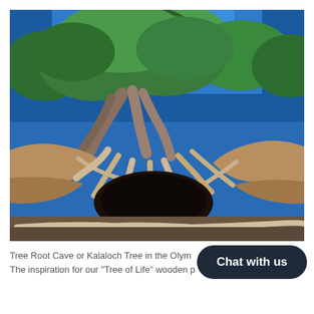[Figure (photo): Photograph of the Tree Root Cave (Kalaloch Tree) in the Olympic Peninsula. A large coniferous tree with twisted, exposed roots spanning over an eroded sandy bluff. The massive root system creates a cave-like arch beneath the trunk. Blue sky and green foliage visible above. Driftwood on the ground below.]
Tree Root Cave or Kalaloch Tree in the Olym[pic National Park]. The inspiration for our "Tree of Life" wooden p[roducts].